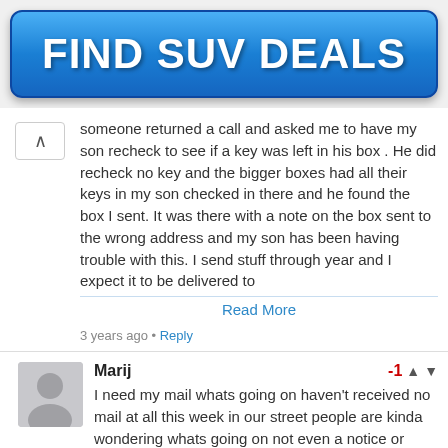[Figure (other): Blue button advertisement with text FIND SUV DEALS]
someone returned a call and asked me to have my son recheck to see if a key was left in his box . He did recheck no key and the bigger boxes had all their keys in my son checked in there and he found the box I sent. It was there with a note on the box sent to the wrong address and my son has been having trouble with this. I send stuff through year and I expect it to be delivered to
Read More
3 years ago • Reply
Marij
-1
I need my mail whats going on haven't received no mail at all this week in our street people are kinda wondering whats going on not even a notice or warning i hope we have everything under control i might just have to